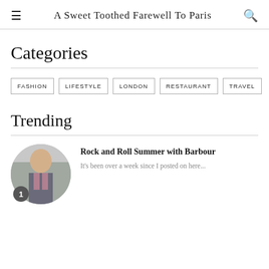A Sweet Toothed Farewell To Paris
Categories
FASHION
LIFESTYLE
LONDON
RESTAURANT
TRAVEL
Trending
Rock and Roll Summer with Barbour
It's been over a week since I posted on here...